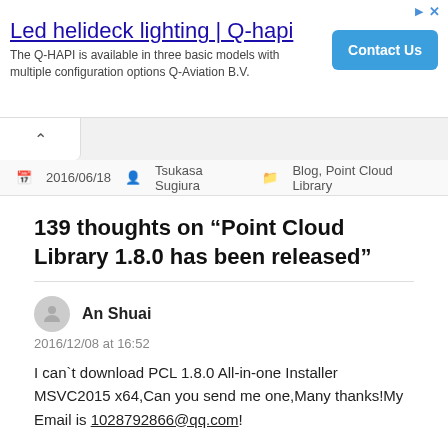[Figure (other): Advertisement banner: 'Led helideck lighting | Q-hapi' with description 'The Q-HAPI is available in three basic models with multiple configuration options Q-Aviation B.V.' and a blue 'Contact Us' button. Includes navigation arrow and close (x) controls in top right.]
2016/06/18   Tsukasa Sugiura   Blog, Point Cloud Library
139 thoughts on “Point Cloud Library 1.8.0 has been released”
An Shuai
2016/12/08 at 16:52
I can`t download PCL 1.8.0 All-in-one Installer MSVC2015 x64,Can you send me one,Many thanks!My Email is 1028792866@qq.com!